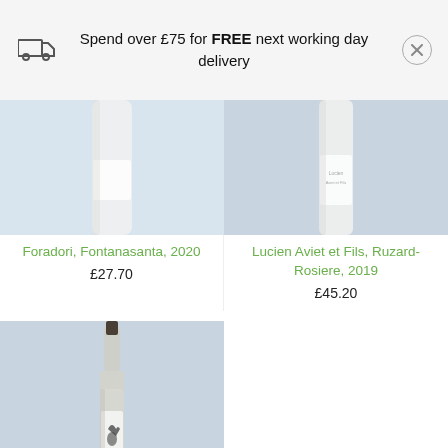Spend over £75 for FREE next working day delivery
[Figure (photo): Partially cropped wine bottle with white label on light blue background (Foradori, Fontanasanta, 2020)]
Foradori, Fontanasanta, 2020
£27.70
[Figure (photo): Partially cropped wine bottle with white label on grey-blue background (Lucien Aviet et Fils, Ruzard-Rosiere, 2019)]
Lucien Aviet et Fils, Ruzard-Rosiere, 2019
£45.20
[Figure (photo): Full wine bottle with white label featuring a bird graphic on a light blue background (Les Dolomies)]
Les Dolomies,